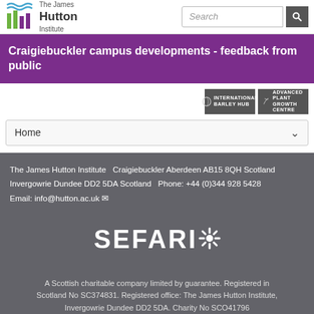[Figure (logo): The James Hutton Institute logo with stylized wave/bar icon in green and blue, and search bar]
Craigiebuckler campus developments - feedback from public
[Figure (logo): International Barley Hub and Advanced Plant Growth Centre badges]
Home
The James Hutton Institute   Craigiebuckler Aberdeen AB15 8QH Scotland Invergowrie Dundee DD2 5DA Scotland   Phone: +44 (0)344 928 5428 Email: info@hutton.ac.uk
[Figure (logo): SEFARI logo - white text with sunburst graphic]
A Scottish charitable company limited by guarantee. Registered in Scotland No SC374831. Registered office: The James Hutton Institute, Invergowrie Dundee DD2 5DA. Charity No SCO41796